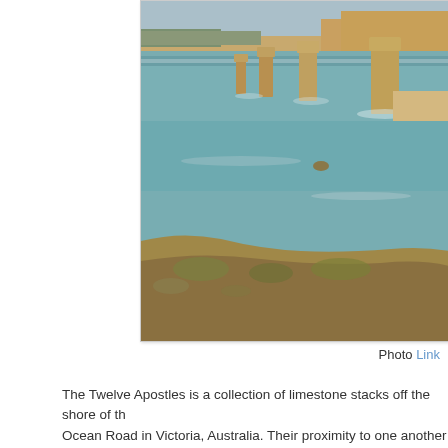[Figure (photo): Coastal photograph of the Twelve Apostles limestone stacks rising from blue-green ocean water, viewed from a clifftop vantage point in Victoria, Australia. Several tall rock formations visible in middle distance, with a sandy cliff in the foreground.]
Photo Link
The Twelve Apostles is a collection of limestone stacks off the shore of the Ocean Road in Victoria, Australia. Their proximity to one another has m